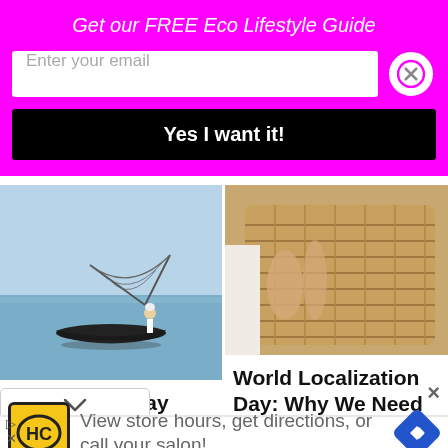Get our FREE Eco Lifestyle Guide
Enter your email
Yes I want it!
[Figure (photo): Fisherman on a boat on calm water with a conical net, blue sky]
[Figure (photo): Person holding a woven wicker/rattan basket, close-up]
World Food Day 2019: Zero Hunge Climate
World Localization Day: Why We Need to Localize
[Figure (screenshot): Advertisement banner: HC logo, 'View store hours, get directions, or call your salon!' with navigation arrow icon]